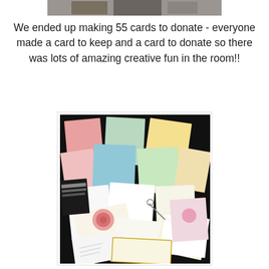[Figure (photo): Partial top photo cropped at top of page, showing a group activity scene]
We ended up making 55 cards to donate - everyone made a card to keep and a card to donate so there was lots of amazing creative fun in the room!!
[Figure (photo): A spread of handmade greeting cards in various colors and designs laid out on a dark background, including floral designs, colorful patterns, and envelopes]